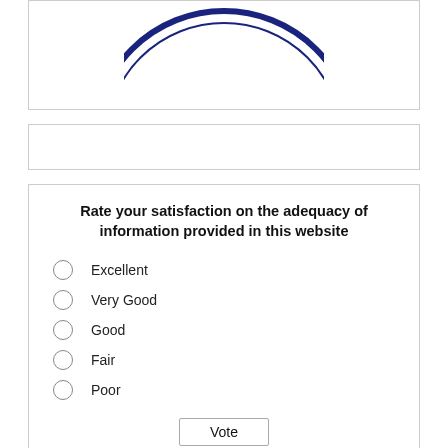[Figure (logo): Partial circular seal/logo with text 'PHILIPPINES' visible at bottom arc, dark navy blue color, top portion cropped]
Rate your satisfaction on the adequacy of information provided in this website
Excellent
Very Good
Good
Fair
Poor
Vote
View Results